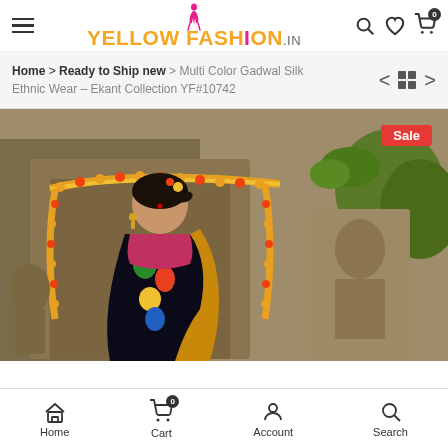Yellow Fashion .in — navigation header with hamburger menu, logo, search, wishlist, cart icons
Home > Ready to Ship new > Multi Color Gadwal Silk Ethnic Wear - Ekant Collection YF#10742
[Figure (photo): A woman wearing a multi-color Gadwal silk saree with floral print and gold border, standing in front of a stone temple sculpture decorated with marigold garlands. A red Sale badge is visible in the top-right corner.]
Home  Cart (0)  Account  Search